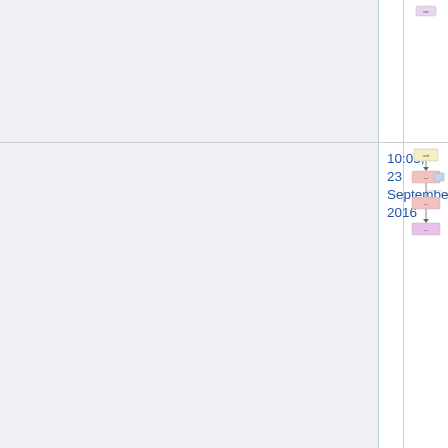|  | Date | Diagram |
| --- | --- | --- |
|  |  |  |
|  | 10:05, 23 September 2016 | [flowchart diagram] |
|  | 10:05, 23 September 2016 | [flowchart diagram] |
|  | 10:05, 23 September 2016 | [flowchart diagram] |